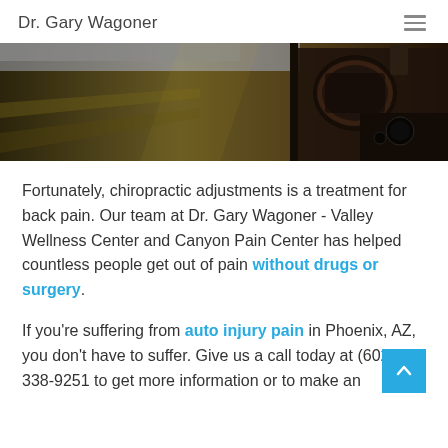Dr. Gary Wagoner
[Figure (photo): Photo of a car side mirror taken from inside the moving vehicle, dark warm tones with a dashboard visible on the right side]
Fortunately, chiropractic adjustments is a treatment for back pain. Our team at Dr. Gary Wagoner - Valley Wellness Center and Canyon Pain Center has helped countless people get out of pain without drugs or surgery.
If you're suffering from auto injury pain in Phoenix, AZ, you don't have to suffer. Give us a call today at (602) 338-9251 to get more information or to make an